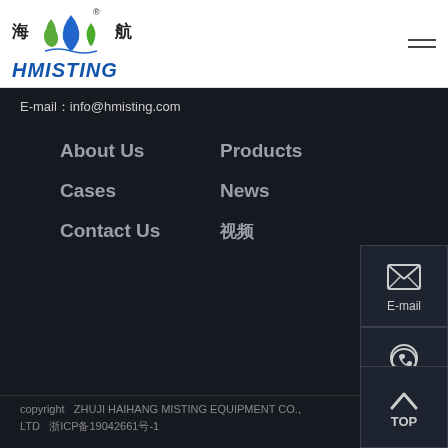[Figure (logo): HMISTING company logo with droplet icons and Chinese characters 海航]
E-mail：info@hmisting.com
About Us
Products
Cases
News
Contact Us
视频
[Figure (illustration): E-mail icon (envelope/X shape) in sidebar button labeled E-mail]
[Figure (illustration): Whatsapp icon in sidebar button labeled Whatsapp]
[Figure (illustration): TOP scroll-to-top button with upward chevron]
copyright  ZHUJI HAIHANG MISTING EQUIPMENT CO., LTD  浙ICP备19042661号-1